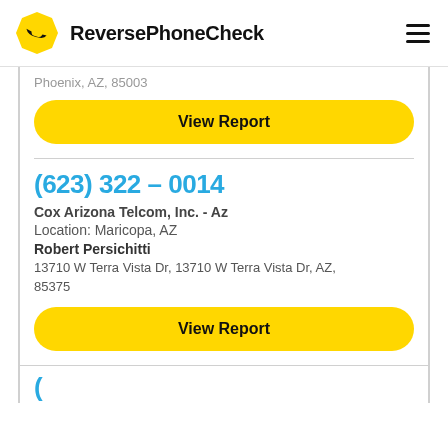ReversePhoneCheck
Phoenix, AZ, 85003
View Report
(623) 322 – 0014
Cox Arizona Telcom, Inc. - Az
Location: Maricopa, AZ
Robert Persichitti
13710 W Terra Vista Dr, 13710 W Terra Vista Dr, AZ, 85375
View Report